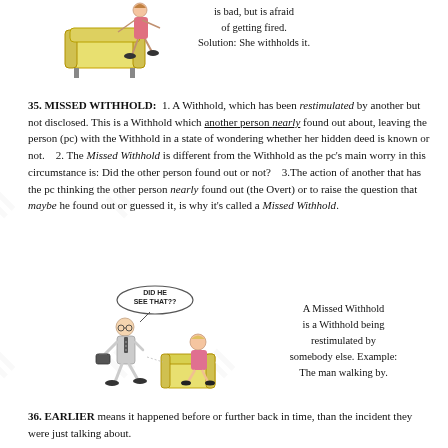[Figure (illustration): Cartoon of a woman near a sofa, partially visible at top of page]
is bad, but is afraid of getting fired. Solution: She withholds it.
35. MISSED WITHHOLD: 1. A Withhold, which has been restimulated by another but not disclosed. This is a Withhold which another person nearly found out about, leaving the person (pc) with the Withhold in a state of wondering whether her hidden deed is known or not.  2. The Missed Withhold is different from the Withhold as the pc's main worry in this circumstance is: Did the other person found out or not?  3.The action of another that has the pc thinking the other person nearly found out (the Overt) or to raise the question that maybe he found out or guessed it, is why it's called a Missed Withhold.
[Figure (illustration): Cartoon of a man walking by with a speech bubble 'DID HE SEE THAT??' and a woman sitting on a box]
A Missed Withhold is a Withhold being restimulated by somebody else. Example: The man walking by.
36. EARLIER means it happened before or further back in time, than the incident they were just talking about.